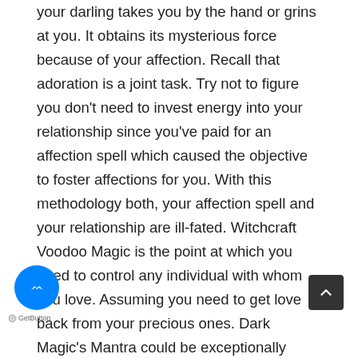your darling takes you by the hand or grins at you. It obtains its mysterious force because of your affection. Recall that adoration is a joint task. Try not to figure you don't need to invest energy into your relationship since you've paid for an affection spell which caused the objective to foster affections for you. With this methodology both, your affection spell and your relationship are ill-fated. Witchcraft Voodoo Magic is the point at which you need to control any individual with whom you love. Assuming you need to get love back from your precious ones. Dark Magic's Mantra could be exceptionally amazing. It could hurt anybody effectively too that is the reason to know about it and don't attempt it single-handedly. Dark Magic for the most part use by Girlfriends, Boyfriends or some time Wife and Husband as well. As we probably are aware the number of individuals take help from Black Magic experts for Black Magic. Many individuals have faith in it. Dark Magic Basically Use For Bringing your adoration back Controlling your kids Marriage related issue Getting control of Wife or Husband Attracting or
[Figure (other): Facebook Messenger chat button (blue circle with white messenger icon) and GetButton branding label below it, positioned bottom-left]
[Figure (other): Scroll-to-top button (dark grey rounded square with white upward chevron), positioned bottom-right]